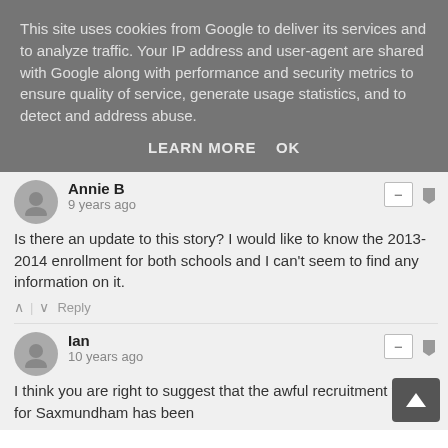This site uses cookies from Google to deliver its services and to analyze traffic. Your IP address and user-agent are shared with Google along with performance and security metrics to ensure quality of service, generate usage statistics, and to detect and address abuse.
LEARN MORE    OK
Annie B
9 years ago
Is there an update to this story? I would like to know the 2013-2014 enrollment for both schools and I can't seem to find any information on it.
∧  |  ∨  Reply
Ian
10 years ago
I think you are right to suggest that the awful recruitment figure for Saxmundham has been